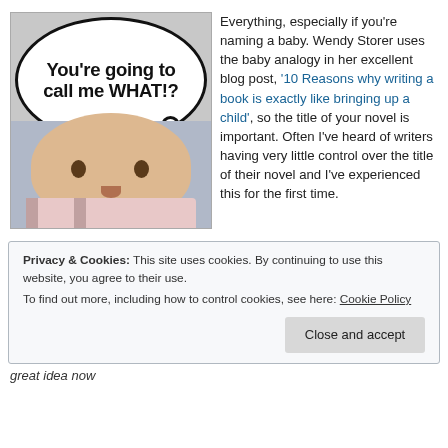[Figure (illustration): A surprised baby with a thought bubble reading 'You’re going to call me WHAT!?']
Everything, especially if you’re naming a baby. Wendy Storer uses the baby analogy in her excellent blog post, ‘10 Reasons why writing a book is exactly like bringing up a child’, so the title of your novel is important. Often I’ve heard of writers having very little control over the title of their novel and I’ve experienced this for the first time.
Privacy & Cookies: This site uses cookies. By continuing to use this website, you agree to their use.
To find out more, including how to control cookies, see here: Cookie Policy
great idea now